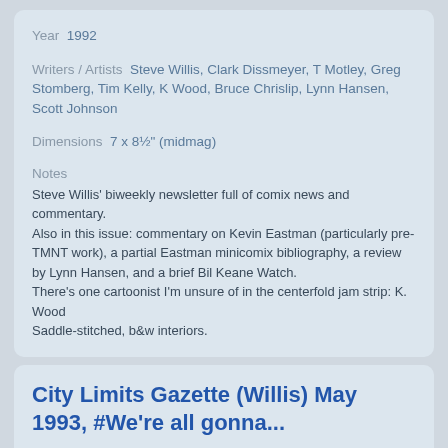Year  1992
Writers / Artists  Steve Willis, Clark Dissmeyer, T Motley, Greg Stomberg, Tim Kelly, K Wood, Bruce Chrislip, Lynn Hansen, Scott Johnson
Dimensions  7 x 8½" (midmag)
Notes
Steve Willis' biweekly newsletter full of comix news and commentary.
Also in this issue: commentary on Kevin Eastman (particularly pre-TMNT work), a partial Eastman minicomix bibliography, a review by Lynn Hansen, and a brief Bil Keane Watch.
There's one cartoonist I'm unsure of in the centerfold jam strip: K. Wood
Saddle-stitched, b&w interiors.
City Limits Gazette (Willis) May 1993, #We're all gonna...
[Figure (photo): Thumbnail image of City Limits Gazette publication]